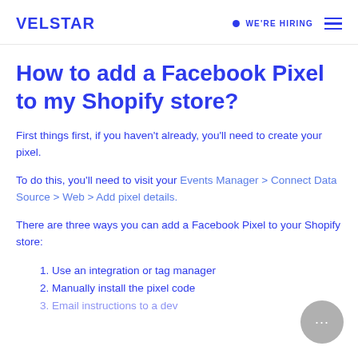VELSTAR | WE'RE HIRING
How to add a Facebook Pixel to my Shopify store?
First things first, if you haven't already, you'll need to create your pixel.
To do this, you'll need to visit your Events Manager > Connect Data Source > Web > Add pixel details.
There are three ways you can add a Facebook Pixel to your Shopify store:
1. Use an integration or tag manager
2. Manually install the pixel code
3. Email instructions to a developer